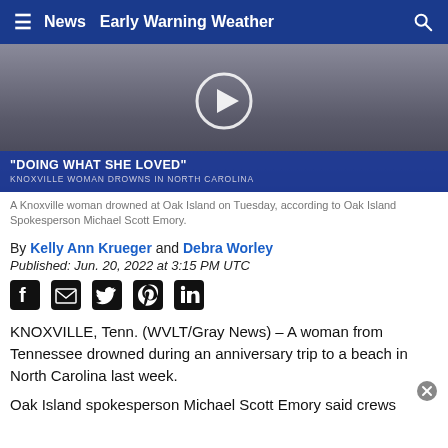≡  News  Early Warning Weather  🔍
[Figure (screenshot): Video thumbnail of a Knoxville woman with overlay text 'DOING WHAT SHE LOVED' and 'KNOXVILLE WOMAN DROWNS IN NORTH CAROLINA', with a play button in center]
A Knoxville woman drowned at Oak Island on Tuesday, according to Oak Island Spokesperson Michael Scott Emory.
By Kelly Ann Krueger and Debra Worley
Published: Jun. 20, 2022 at 3:15 PM UTC
[Figure (infographic): Social media share icons: Facebook, Email, Twitter, Pinterest, LinkedIn]
KNOXVILLE, Tenn. (WVLT/Gray News) – A woman from Tennessee drowned during an anniversary trip to a beach in North Carolina last week.
Oak Island spokesperson Michael Scott Emory said crews